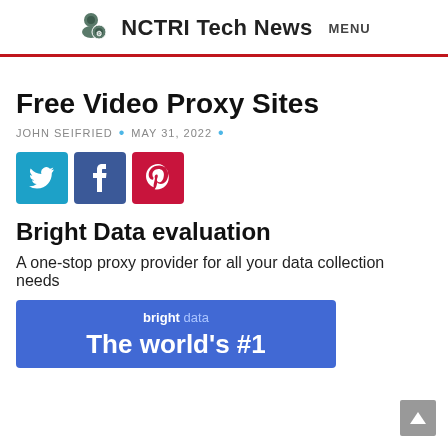NCTRI Tech News  MENU
Free Video Proxy Sites
JOHN SEIFRIED  •  MAY 31, 2022  •
[Figure (other): Social share buttons: Twitter (blue), Facebook (dark blue), Pinterest (red)]
Bright Data evaluation
A one-stop proxy provider for all your data collection needs
[Figure (other): Bright Data banner: bright data logo and headline 'The world's #1']